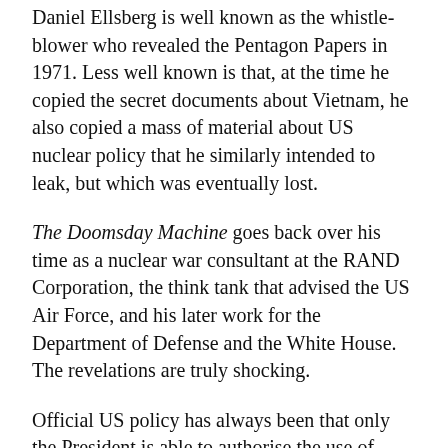Daniel Ellsberg is well known as the whistle-blower who revealed the Pentagon Papers in 1971. Less well known is that, at the time he copied the secret documents about Vietnam, he also copied a mass of material about US nuclear policy that he similarly intended to leak, but which was eventually lost.
The Doomsday Machine goes back over his time as a nuclear war consultant at the RAND Corporation, the think tank that advised the US Air Force, and his later work for the Department of Defense and the White House. The revelations are truly shocking.
Official US policy has always been that only the President is able to authorise the use of nuclear weapons. In the late 1950s, Ellsberg discovered this to be a complete sham. President Eisenhower had delegated authority to senior regional commanders on the basis that, if Washington had been destroyed